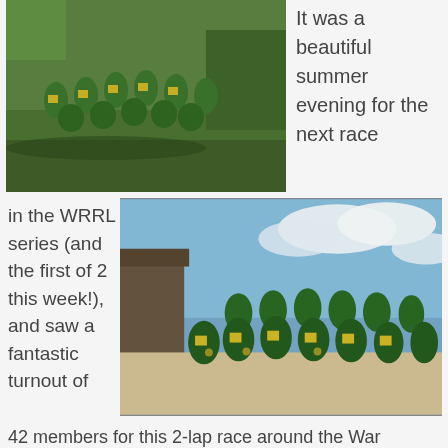[Figure (photo): Group photo of runners in green and yellow vests on grass at an outdoor running event, evening light]
It was a beautiful summer evening for the next race
in the WRRL series (and the first of 2 this week!), and saw a fantastic turnout of
[Figure (photo): Group photo of runners in green and yellow vests with race medals, standing on sand/beach area with blue sky behind]
42 members for this 2-lap race around the War Memorial Park in Coventry. Nick Woolley led the team